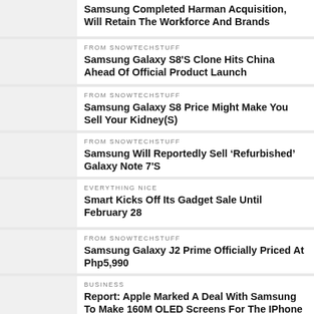Samsung Completed Harman Acquisition, Will Retain The Workforce And Brands
FROM SNOWTECHSTUFF
Samsung Galaxy S8'S Clone Hits China Ahead Of Official Product Launch
FROM SNOWTECHSTUFF
Samsung Galaxy S8 Price Might Make You Sell Your Kidney(S)
FROM SNOWTECHSTUFF
Samsung Will Reportedly Sell ‘Refurbished’ Galaxy Note 7'S
EVERYTHING NICE
Smart Kicks Off Its Gadget Sale Until February 28
FROM SNOWTECHSTUFF
Samsung Galaxy J2 Prime Officially Priced At Php5,990
BUSINESS
Report: Apple Marked A Deal With Samsung To Make 160M OLED Screens For The IPhone